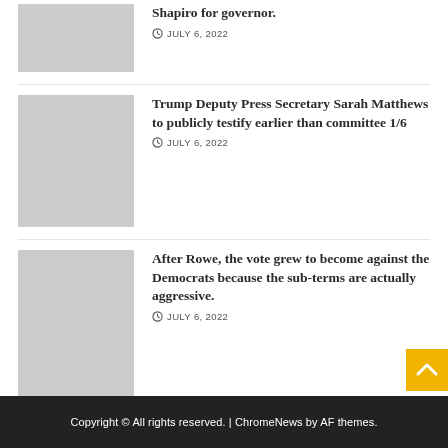Shapiro for governor. JULY 6, 2022
Trump Deputy Press Secretary Sarah Matthews to publicly testify earlier than committee 1/6 JULY 6, 2022
After Rowe, the vote grew to become against the Democrats because the sub-terms are actually aggressive. JULY 6, 2022
Copyright © All rights reserved. | ChromeNews by AF themes.